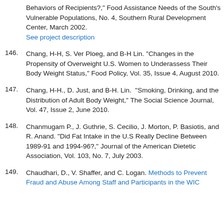Behaviors of Recipients?," Food Assistance Needs of the South's Vulnerable Populations, No. 4, Southern Rural Development Center, March 2002. See project description
146. Chang, H-H, S. Ver Ploeg, and B-H Lin. "Changes in the Propensity of Overweight U.S. Women to Underassess Their Body Weight Status," Food Policy, Vol. 35, Issue 4, August 2010.
147. Chang, H-H., D. Just, and B-H. Lin. "Smoking, Drinking, and the Distribution of Adult Body Weight," The Social Science Journal, Vol. 47, Issue 2, June 2010.
148. Chanmugam P., J. Guthrie, S. Cecilio, J. Morton, P. Basiotis, and R. Anand. "Did Fat Intake in the U.S Really Decline Between 1989-91 and 1994-96?," Journal of the American Dietetic Association, Vol. 103, No. 7, July 2003.
149. Chaudhari, D., V. Shaffer, and C. Logan. Methods to Prevent Fraud and Abuse Among Staff and Participants in the WIC